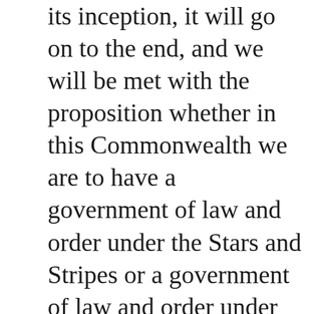its inception, it will go on to the end, and we will be met with the proposition whether in this Commonwealth we are to have a government of law and order under the Stars and Stripes or a government of law and order under the red flag. Isn't that true, gentlemen? Isn't this more than a struggle between capital and labor? It is a struggle between organized society, a struggle between the sovereignty of the State and the sovereignty of the mob. I for one